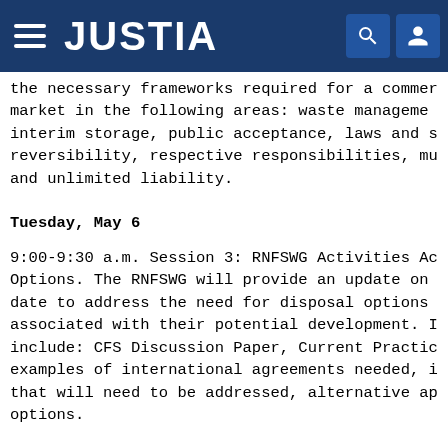JUSTIA
the necessary frameworks required for a commercial market in the following areas: waste management, interim storage, public acceptance, laws and standards, reversibility, respective responsibilities, mutual trust and unlimited liability.
Tuesday, May 6
9:00-9:30 a.m. Session 3: RNFSWG Activities Addressing Options. The RNFSWG will provide an update on activities to date to address the need for disposal options and issues associated with their potential development. Presentations will include: CFS Discussion Paper, Current Practices and examples of international agreements needed, issues and risks that will need to be addressed, alternative approaches and options.